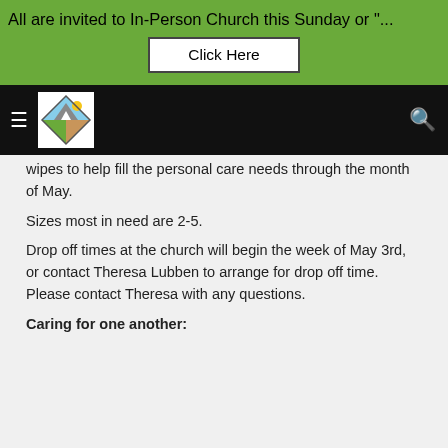All are invited to In-Person Church this Sunday or "...
Click Here
[Figure (logo): Church logo with mountain and sun, diamond shaped with mountain scenery]
wipes to help fill the personal care needs through the month of May.
Sizes most in need are 2-5.
Drop off times at the church will begin the week of May 3rd, or contact Theresa Lubben to arrange for drop off time. Please contact Theresa with any questions.
Caring for one another: